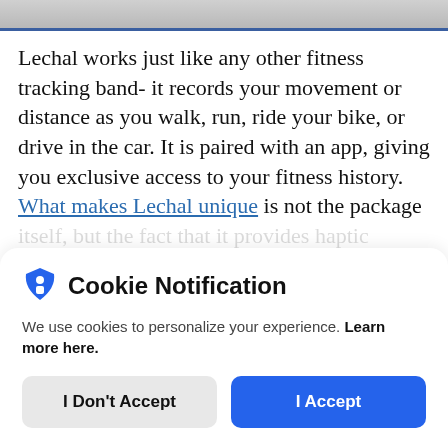Lechal works just like any other fitness tracking band- it records your movement or distance as you walk, run, ride your bike, or drive in the car. It is paired with an app, giving you exclusive access to your fitness history. What makes Lechal unique is not the package itself, but the fact that it provides haptic
Cookie Notification
We use cookies to personalize your experience. Learn more here.
I Don't Accept
I Accept